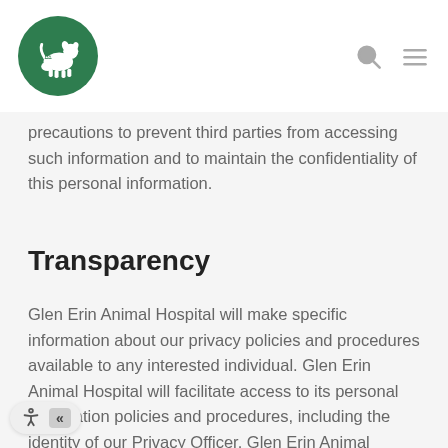Glen Erin Animal Hospital logo and navigation
precautions to prevent third parties from accessing such information and to maintain the confidentiality of this personal information.
Transparency
Glen Erin Animal Hospital will make specific information about our privacy policies and procedures available to any interested individual. Glen Erin Animal Hospital will facilitate access to its personal information policies and procedures, including the identity of our Privacy Officer. Glen Erin Animal Hospital will also ensure that individuals